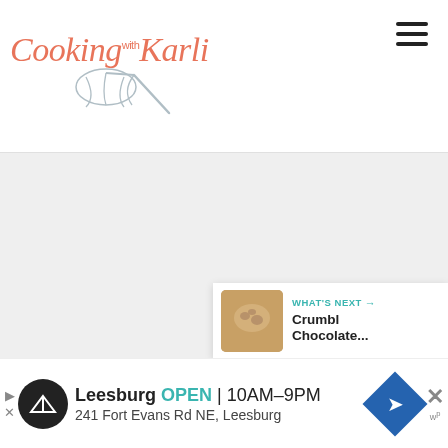[Figure (logo): Cooking with Karli logo with script text and whisk illustration]
[Figure (other): Hamburger menu icon (three horizontal lines)]
[Figure (other): Gray main content area (blank)]
[Figure (other): Teal heart/favorite button showing count 75 and share button]
[Figure (other): What's Next panel showing Crumbl Chocolate... with thumbnail]
[Figure (other): Advertisement bar: Leesburg OPEN 10AM-9PM, 241 Fort Evans Rd NE, Leesburg]